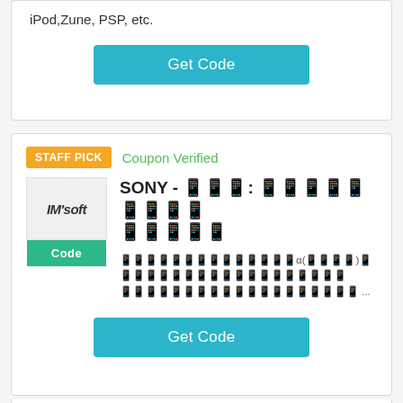iPod,Zune, PSP, etc.
Get Code
STAFF PICK
Coupon Verified
[Figure (logo): IM'soft logo box with green Code badge]
SONY - 限时: 限时优惠购买即享优惠
限时优惠购买即享α(限时)优惠购买即享优惠购买即享优惠购买即享 ...
Get Code
STAFF PICK
Coupon Verified